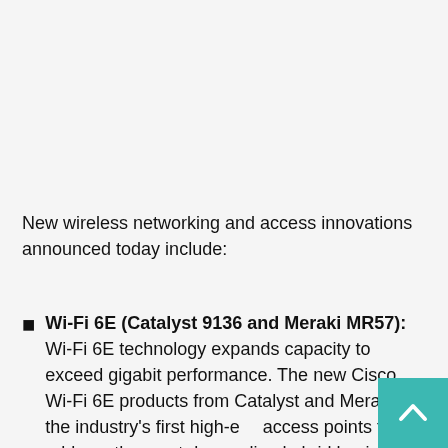New wireless networking and access innovations announced today include:
Wi-Fi 6E (Catalyst 9136 and Meraki MR57): Wi-Fi 6E technology expands capacity to exceed gigabit performance. The new Cisco Wi-Fi 6E products from Catalyst and Meraki are the industry's first high-e… access points that address the most demanding hybrid business environments.